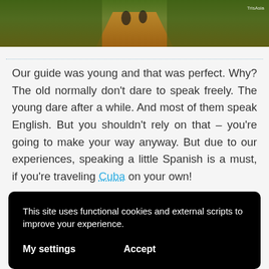[Figure (photo): Photo of people walking on a dirt path with green vegetation on the sides. A watermark reading 'TrisAsia' appears in the top right corner.]
Our guide was young and that was perfect. Why? The old normally don't dare to speak freely. The young dare after a while. And most of them speak English. But you shouldn't rely on that – you're going to make your way anyway. But due to our experiences, speaking a little Spanish is a must, if you're traveling Cuba on your own!
This site uses functional cookies and external scripts to improve your experience.
My settings    Accept